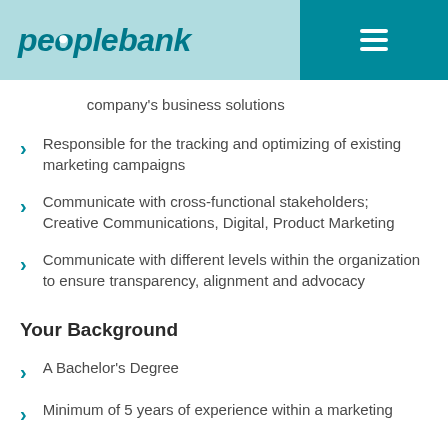[Figure (logo): Peoplebank logo with teal header bar and hamburger menu icon]
company's business solutions
Responsible for the tracking and optimizing of existing marketing campaigns
Communicate with cross-functional stakeholders; Creative Communications, Digital, Product Marketing
Communicate with different levels within the organization to ensure transparency, alignment and advocacy
Your Background
A Bachelor's Degree
Minimum of 5 years of experience within a marketing